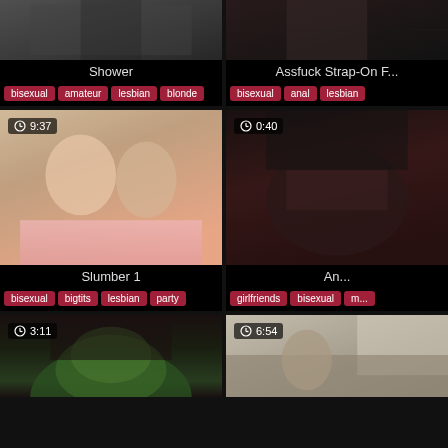[Figure (photo): Shower scene thumbnail, top-left]
Shower
bisexual  amateur  lesbian  blonde
[Figure (photo): Assfuck Strap-On thumbnail, top-right]
Assfuck Strap-On F...
bisexual  anal  lesbian
[Figure (photo): Slumber 1 thumbnail with duration 9:37, mid-left]
Slumber 1
bisexual  bigtits  lesbian  party
[Figure (photo): An... thumbnail with duration 0:40, mid-right]
An...
girlfriends  bisexual  m...
[Figure (photo): Green hair thumbnail with duration 3:11, bottom-left]
[Figure (photo): Room scene thumbnail with duration 6:54, bottom-right]